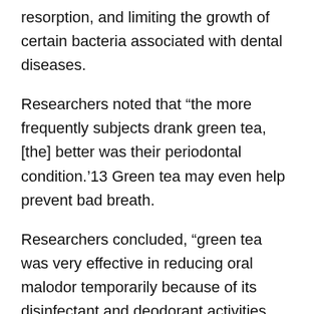resorption, and limiting the growth of certain bacteria associated with dental diseases.
Researchers noted that “the more frequently subjects drank green tea, [the] better was their periodontal condition.’13 Green tea may even help prevent bad breath.
Researchers concluded, “green tea was very effective in reducing oral malodor temporarily because of its disinfectant and deodorant activities, whereas other foods were not effective.”14
7. Lower Your Risk of Type 2 Diabetes